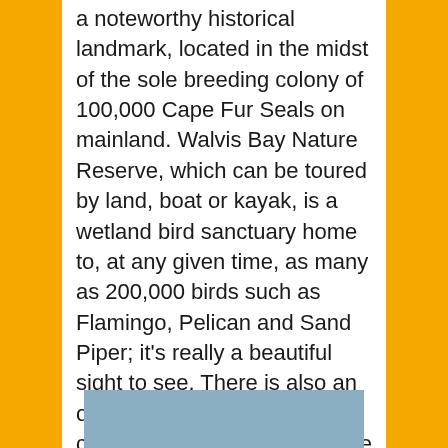a noteworthy historical landmark, located in the midst of the sole breeding colony of 100,000 Cape Fur Seals on mainland. Walvis Bay Nature Reserve, which can be toured by land, boat or kayak, is a wetland bird sanctuary home to, at any given time, as many as 200,000 birds such as Flamingo, Pelican and Sand Piper; it's really a beautiful sight to see. There is also an opportunity take a dolphin cruise where you can also see seals and sometimes even encounter whales as well.
[Figure (photo): Partially visible photo with blue sky/water background at the bottom of the page]